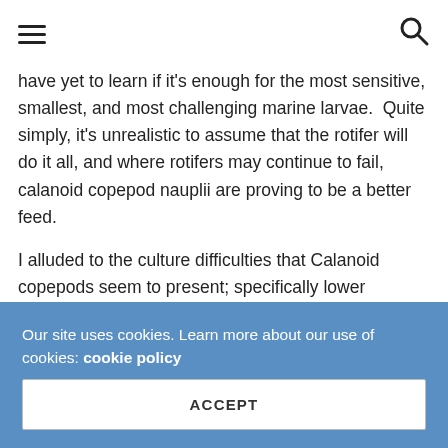☰ [hamburger menu] [search icon]
have yet to learn if it's enough for the most sensitive, smallest, and most challenging marine larvae.  Quite simply, it's unrealistic to assume that the rotifer will do it all, and where rotifers may continue to fail, calanoid copepod nauplii are proving to be a better feed.
I alluded to the culture difficulties that Calanoid copepods seem to present; specifically lower densities and a perceived requirement for live food.  As a breeder, I've been so fundamentally changed (spoiled) by Reed's algae concentrates that I never want to culture phytoplankton again, so this presents a conundrum.  Do I
Our site uses cookies. Learn more about our use of cookies: cookie policy
ACCEPT